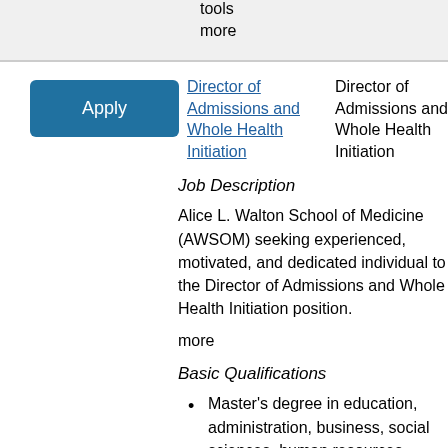tools
more
Director of Admissions and Whole Health Initiation
Director of Admissions and Whole Health Initiation
Bentonville
Job Description
Alice L. Walton School of Medicine (AWSOM) seeking experienced, motivated, and dedicated individual to the Director of Admissions and Whole Health Initiation position.
more
Basic Qualifications
Master's degree in education, administration, business, social sciences, human resources, marketing or six (6) years of experience i...